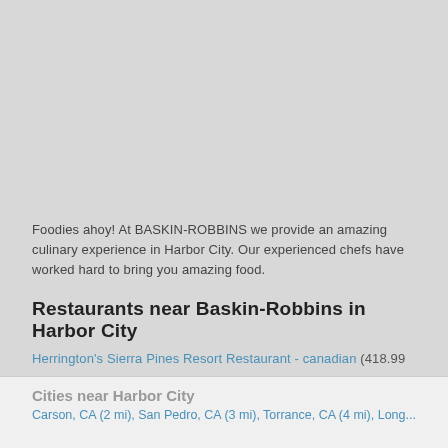[Figure (other): Gray placeholder image area at the top of the page]
Foodies ahoy! At BASKIN-ROBBINS we provide an amazing culinary experience in Harbor City. Our experienced chefs have worked hard to bring you amazing food.
Restaurants near Baskin-Robbins in Harbor City
Herrington's Sierra Pines Resort Restaurant - canadian (418.99 mi)
The Buckhorn Bar and Mountain Creek Restaurant - american (419 mi)
Sardine Lake Resort - american (422.15 mi)
Stateline Bar & Grill - american (587.98 mi)
Spruce Tree Terrace Café - american (596.89 mi)
Cities near Harbor City
Carson, CA (2 mi), San Pedro, CA (3 mi), Torrance, CA (4 mi), Long...